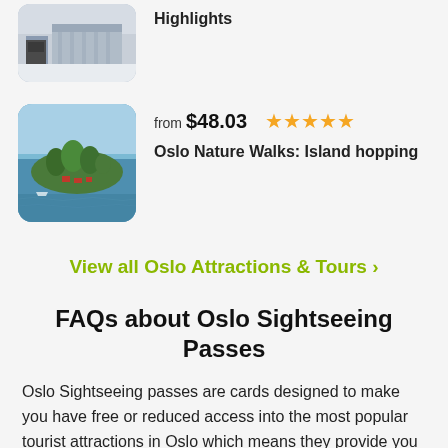[Figure (photo): Partial view of a building exterior photo with rounded corners, partially cropped at top]
Highlights
[Figure (photo): Aerial photo of a green island surrounded by blue water near Oslo, with red-roofed buildings visible]
from $48.03  ★★★★★
Oslo Nature Walks: Island hopping
View all Oslo Attractions & Tours >
FAQs about Oslo Sightseeing Passes
Oslo Sightseeing passes are cards designed to make you have free or reduced access into the most popular tourist attractions in Oslo which means they provide you a great way of saving time and money as you explore Oslo city.